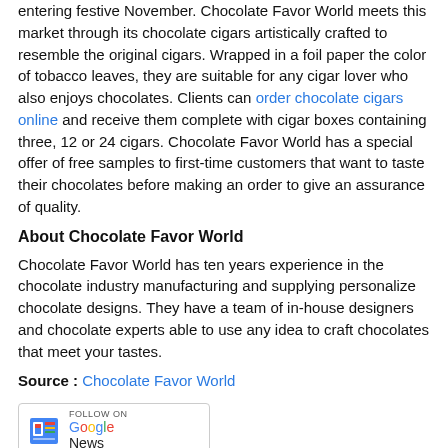entering festive November. Chocolate Favor World meets this market through its chocolate cigars artistically crafted to resemble the original cigars. Wrapped in a foil paper the color of tobacco leaves, they are suitable for any cigar lover who also enjoys chocolates. Clients can order chocolate cigars online and receive them complete with cigar boxes containing three, 12 or 24 cigars. Chocolate Favor World has a special offer of free samples to first-time customers that want to taste their chocolates before making an order to give an assurance of quality.
About Chocolate Favor World
Chocolate Favor World has ten years experience in the chocolate industry manufacturing and supplying personalize chocolate designs. They have a team of in-house designers and chocolate experts able to use any idea to craft chocolates that meet your tastes.
Source : Chocolate Favor World
[Figure (logo): Follow on Google News button/badge]
CATEGORIES : FOOD AND BEVERAGE SERVICES